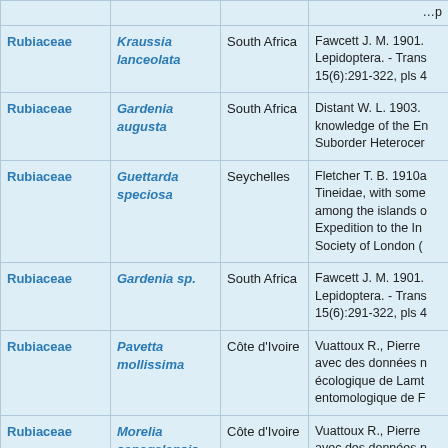| Family | Species | Region | Reference |
| --- | --- | --- | --- |
| Rubiaceae | Kraussia lanceolata | South Africa | Fawcett J. M. 1901. Lepidoptera. - Trans 15(6):291-322, pls 4 |
| Rubiaceae | Gardenia augusta | South Africa | Distant W. L. 1903. knowledge of the En Suborder Heterocer |
| Rubiaceae | Guettarda speciosa | Seychelles | Fletcher T. B. 1910a Tineidae, with some among the islands o Expedition to the In Society of London ( |
| Rubiaceae | Gardenia sp. | South Africa | Fawcett J. M. 1901. Lepidoptera. - Trans 15(6):291-322, pls 4 |
| Rubiaceae | Pavetta mollissima | Côte d'Ivoire | Vuattoux R., Pierre avec des données n écologique de Lamt entomologique de F |
| Rubiaceae | Morelia senegalensis | Côte d'Ivoire | Vuattoux R., Pierre avec des données n écologique de Lamt entomologique de F |